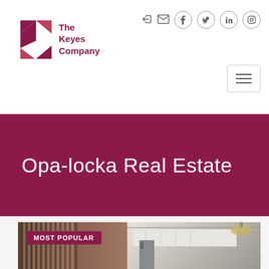[Figure (logo): The Keyes Company logo with red K diamond shape and text]
[Figure (screenshot): Social media icons: login, email, Facebook, Twitter, LinkedIn, Instagram]
[Figure (other): Hamburger menu button]
Opa-locka Real Estate
[Figure (photo): Interior photo of a home showing vertical blinds on left and kitchen with white cabinets and stainless steel appliances on right, with a chandelier. MOST POPULAR badge overlay. Chat bubble button overlay.]